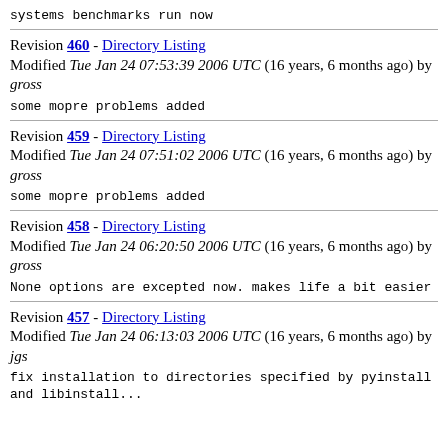systems benchmarks run now
Revision 460 - Directory Listing
Modified Tue Jan 24 07:53:39 2006 UTC (16 years, 6 months ago) by gross
some mopre problems added
Revision 459 - Directory Listing
Modified Tue Jan 24 07:51:02 2006 UTC (16 years, 6 months ago) by gross
some mopre problems added
Revision 458 - Directory Listing
Modified Tue Jan 24 06:20:50 2006 UTC (16 years, 6 months ago) by gross
None options are excepted now. makes life a bit easier
Revision 457 - Directory Listing
Modified Tue Jan 24 06:13:03 2006 UTC (16 years, 6 months ago) by jgs
fix installation to directories specified by pyinstall
and libinstall...